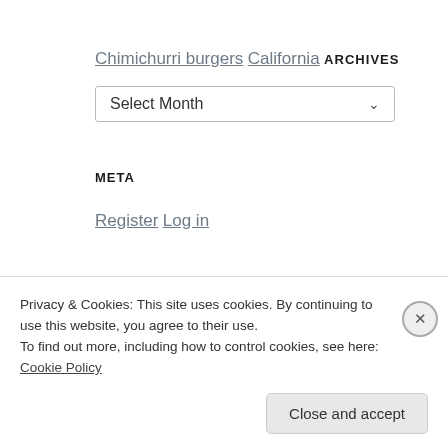Chimichurri burgers
California
ARCHIVES
Select Month
META
Register
Log in
Privacy & Cookies: This site uses cookies. By continuing to use this website, you agree to their use.
To find out more, including how to control cookies, see here: Cookie Policy
Close and accept